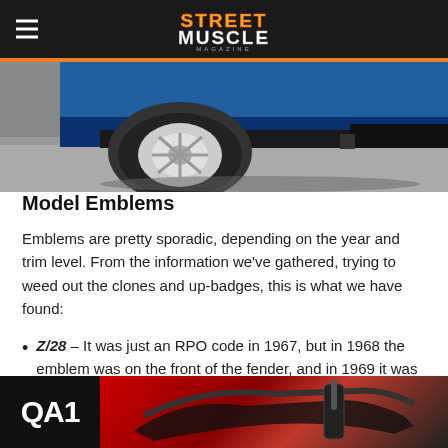Street Muscle Magazine
[Figure (photo): Bottom portion of a blue muscle car showing rear wheel, chrome rim, and lower body/bumper area on pavement]
Model Emblems
Emblems are pretty sporadic, depending on the year and trim level. From the information we’ve gathered, trying to weed out the clones and up-badges, this is what we have found:
Z/28 – It was just an RPO code in 1967, but in 1968 the emblem was on the front of the fender, and in 1969 it was on the grille and on the front of the fender.
SS – This emblem appeared on the grille for all
[Figure (photo): QA1 advertisement banner showing suspension/control arm parts on red and black background]